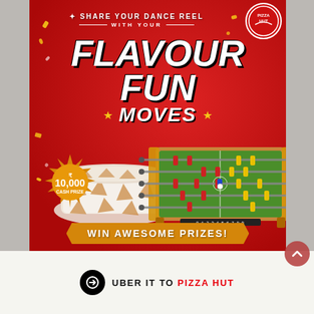[Figure (infographic): Pizza Hut promotional ad. Red background with 'SHARE YOUR DANCE REEL WITH YOUR FLAVOUR FUN MOVES' text. Shows pizza-printed pillow/blanket and a foosball table as prizes. Gold starburst badge showing '10,000 CASH PRIZE'. Bottom banner reading 'WIN AWESOME PRIZES!' in a gold ribbon shape. Pizza Hut logo in top right corner.]
UBER IT TO PIZZA HUT